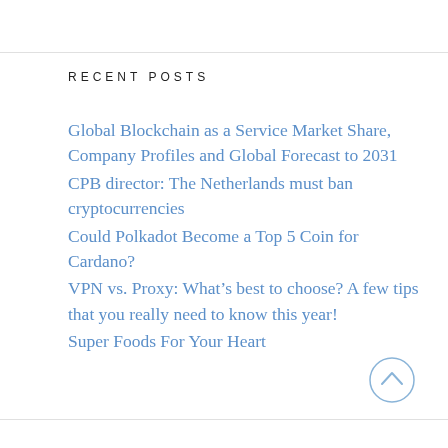RECENT POSTS
Global Blockchain as a Service Market Share, Company Profiles and Global Forecast to 2031
CPB director: The Netherlands must ban cryptocurrencies
Could Polkadot Become a Top 5 Coin for Cardano?
VPN vs. Proxy: What’s best to choose? A few tips that you really need to know this year!
Super Foods For Your Heart